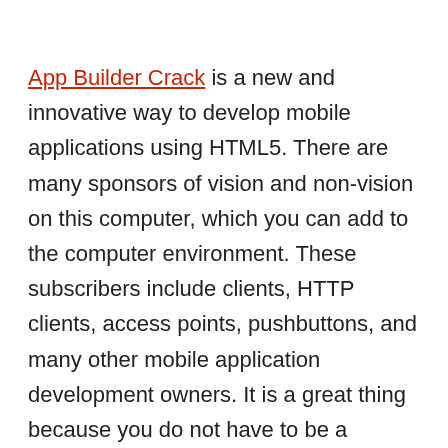App Builder Crack is a new and innovative way to develop mobile applications using HTML5. There are many sponsors of vision and non-vision on this computer, which you can add to the computer environment. These subscribers include clients, HTTP clients, access points, pushbuttons, and many other mobile application development owners. It is a great thing because you do not have to be a JavaScript master developing the project using HTML5. Computer software is useful, but it's a user-friendly platform to help people create their HTML5 projects, even if they don't know the field, because they don't need to write a line. Code, if you